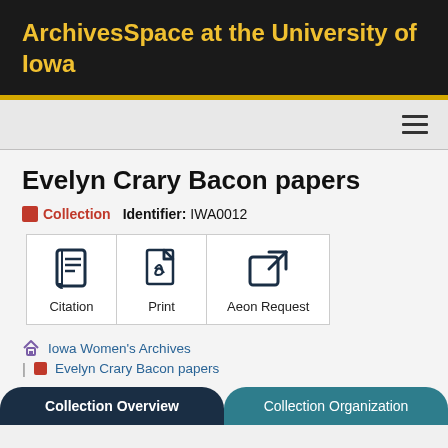ArchivesSpace at the University of Iowa
Evelyn Crary Bacon papers
Collection   Identifier: IWA0012
[Figure (screenshot): Three action buttons: Citation (book icon), Print (PDF icon), Aeon Request (external link icon)]
Iowa Women's Archives
Evelyn Crary Bacon papers
Collection Overview   Collection Organization